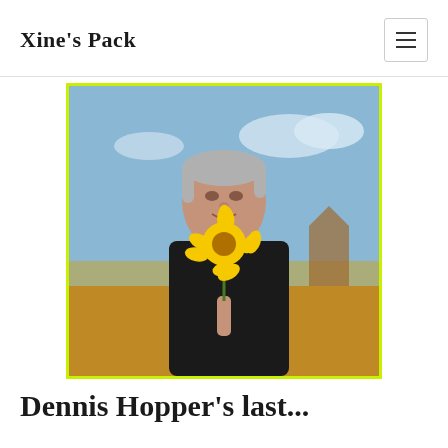Xine's Pack
[Figure (photo): An older man with silver hair wearing a black shirt, holding a yellow sunflower outdoors with a desert landscape and cloudy sky in the background. The image has a bright yellow-green border.]
Dennis Hopper's last...